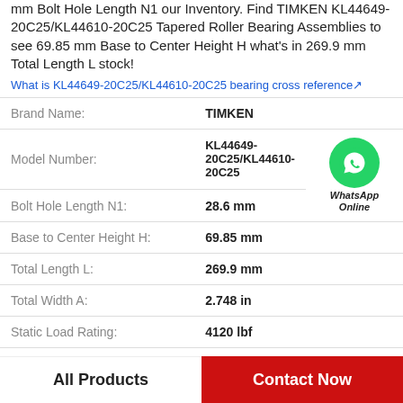mm Bolt Hole Length N1 our Inventory. Find TIMKEN KL44649-20C25/KL44610-20C25 Tapered Roller Bearing Assemblies to see 69.85 mm Base to Center Height H what's in 269.9 mm Total Length L stock!
What is KL44649-20C25/KL44610-20C25 bearing cross reference↗
| Property | Value |
| --- | --- |
| Brand Name: | TIMKEN |
| Model Number: | KL44649-20C25/KL44610-20C25 |
| Bolt Hole Length N1: | 28.6 mm |
| Base to Center Height H: | 69.85 mm |
| Total Length L: | 269.9 mm |
| Total Width A: | 2.748 in |
| Static Load Rating: | 4120 lbf |
All Products | Contact Now